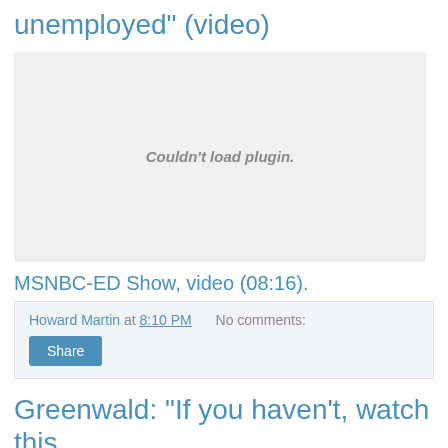unemployed" (video)
[Figure (other): Video placeholder showing 'Couldn't load plugin.' message]
MSNBC-ED Show, video (08:16).
Howard Martin at 8:10 PM   No comments:
Share
Greenwald: "If you haven't, watch this